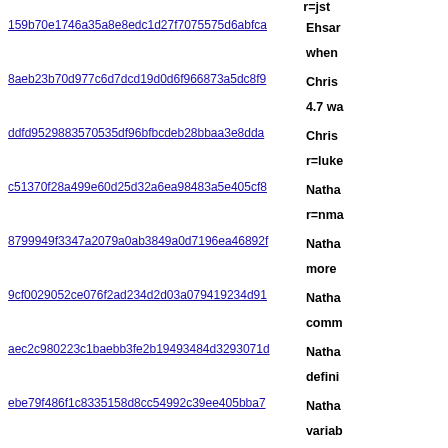r=jst
159b70e1746a35a8e8edc1d27f7075575d6abfca | Ehsan when
8aeb23b70d977c6d7dcd19d0d6f966873a5dc8f9 | Chris 4.7 wa
ddfd9529883570535df96bfbcdeb28bbaa3e8dda | Chris r=luke
c51370f28a499e60d25d32a6ea98483a5e405cf8 | Natha r=nma
8799949f3347a2079a0ab3849a0d7196ea46892f | Natha more
9cf0029052ce076f2ad234d2d03a079419234d91 | Natha comm
aec2c980223c1baebb3fe2b19493484d3293071d | Natha defini
ebe79f486f1c8335158d8cc54992c39ee405bba7 | Natha variab
f83cb3968302e11fc0fb43ba5d4a0a141ecab949 | Jan de
2a5ab810a451e88640b2636706c4be34f06efbfb | Eitan tests f
d9e151e7eb9983a69bdd85a78132dad16f0a980a | David anima
c0e5cb86164396076149c116df24b5d4e5a92bd8 | David wrong
1b31ac7a1bb499ad30bce8348c97ab5c11ce6ce2 | David
019382e246351ce36afb582bf2f7d7bc2c357302 | Monic (b=858
7d9e1b954e7f4889b9425fe411d714d08f5104a7 | Bobby